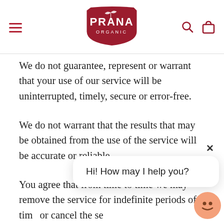[Figure (logo): PRANA ORGANIC logo in dark red shield shape]
We do not guarantee, represent or warrant that your use of our service will be uninterrupted, timely, secure or error-free.
We do not warrant that the results that may be obtained from the use of the service will be accurate or reliable.
You agree that from time to time we may remove the service for indefinite periods of time, or cancel the service at any time, without notice to you.
You expressly agree that your use of, or inability
[Figure (screenshot): Chat widget popup with text 'Hi! How may I help you?' and close button X, with orange smiley avatar]